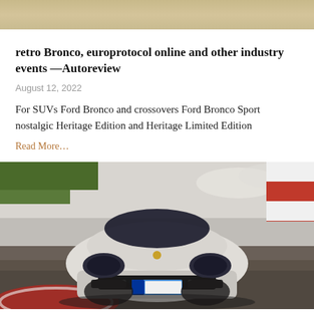[Figure (photo): Top portion of a car/vehicle image, cropped at the top of the page, showing a sandy/beige background.]
retro Bronco, europrotocol online and other industry events —Autoreview
August 12, 2022
For SUVs Ford Bronco and crossovers Ford Bronco Sport nostalgic Heritage Edition and Heritage Limited Edition
Read More…
[Figure (photo): A white Porsche Taycan (license plate LB TS 945E) driving on a race track, front view, with green grass and red/white barriers in the background.]